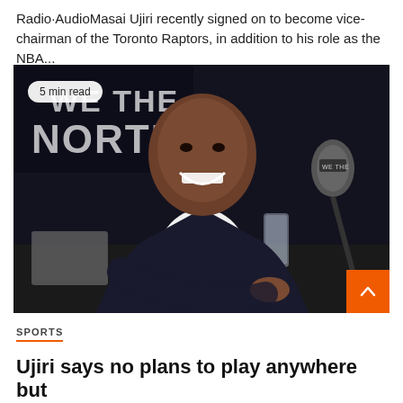Radio·AudioMasai Ujiri recently signed on to become vice-chairman of the Toronto Raptors, in addition to his role as the NBA...
[Figure (photo): Masai Ujiri smiling at a press conference table with a microphone and glass of water in front of him. A 'WE THE NORTH' banner is visible in the background. Badge reads '5 min read'.]
SPORTS
Ujiri says no plans to play anywhere but